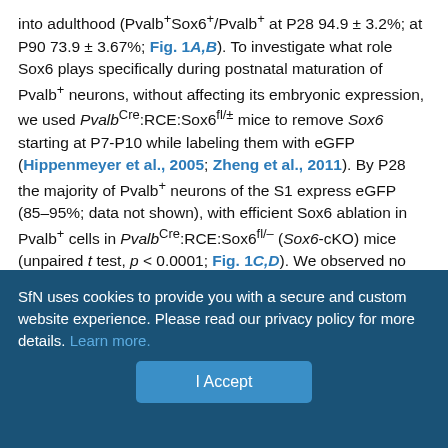into adulthood (Pvalb+Sox6+/Pvalb+ at P28 94.9 ± 3.2%; at P90 73.9 ± 3.67%; Fig. 1A,B). To investigate what role Sox6 plays specifically during postnatal maturation of Pvalb+ neurons, without affecting its embryonic expression, we used PvalbCre:RCE:Sox6fl/± mice to remove Sox6 starting at P7-P10 while labeling them with eGFP (Hippenmeyer et al., 2005; Zheng et al., 2011). By P28 the majority of Pvalb+ neurons of the S1 express eGFP (85–95%; data not shown), with efficient Sox6 ablation in Pvalb+ cells in PvalbCre:RCE:Sox6fl/– (Sox6-cKO) mice (unpaired t test, p < 0.0001; Fig. 1C,D). We observed no differences in Pvalb+ cell density (unpaired t test, p = 0.89; Fig. 1E,F) nor Pvalb+PNN+ co-labeling among eGFP+ neurons (unpaired t test for p = 0.37; Fig. 1G), as well as no differences in the levels of Pvalb+ and PNN staining intensity
SfN uses cookies to provide you with a secure and custom website experience. Please read our privacy policy for more details. Learn more.